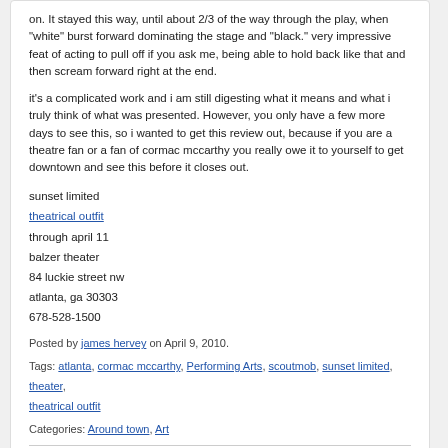on. It stayed this way, until about 2/3 of the way through the play, when “white” burst forward dominating the stage and “black.” very impressive feat of acting to pull off if you ask me, being able to hold back like that and then scream forward right at the end.
it's a complicated work and i am still digesting what it means and what i truly think of what was presented. However, you only have a few more days to see this, so i wanted to get this review out, because if you are a theatre fan or a fan of cormac mccarthy you really owe it to yourself to get downtown and see this before it closes out.
sunset limited
theatrical outfit
through april 11
balzer theater
84 luckie street nw
atlanta, ga 30303
678-528-1500
Posted by james hervey on April 9, 2010.
Tags: atlanta, cormac mccarthy, Performing Arts, scoutmob, sunset limited, theater, theatrical outfit
Categories: Around town, Art